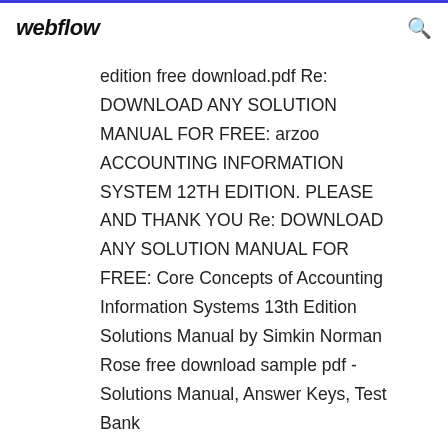webflow
edition free download.pdf Re: DOWNLOAD ANY SOLUTION MANUAL FOR FREE: arzoo ACCOUNTING INFORMATION SYSTEM 12TH EDITION. PLEASE AND THANK YOU Re: DOWNLOAD ANY SOLUTION MANUAL FOR FREE: Core Concepts of Accounting Information Systems 13th Edition Solutions Manual by Simkin Norman Rose free download sample pdf - Solutions Manual, Answer Keys, Test Bank
Biological Science 4TH Edition PDF ==> Download: Biological Science 4TH Edition PDF Biological Science 4TH Edition PDF - Are you searching for Biological Science 4th Edition